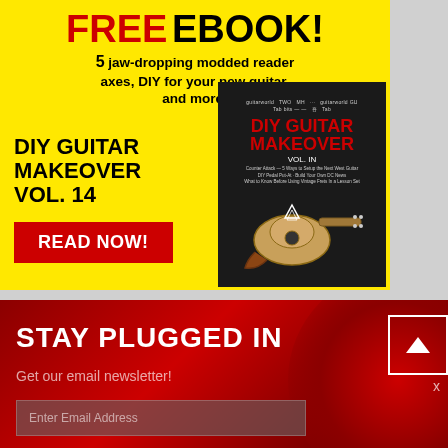[Figure (infographic): Yellow background advertisement for a free ebook: DIY Guitar Makeover Vol. 14. Shows bold text 'FREE EBOOK!' with red FREE, black subtext about 5 jaw-dropping modded reader axes, DIY for your new guitar, and more. Bottom left has DIY GUITAR MAKEOVER VOL. 14 in bold and a red READ NOW! button. Right side shows the ebook cover with red title on dark background and a guitar photo.]
STAY PLUGGED IN
Get our email newsletter!
Enter Email Address